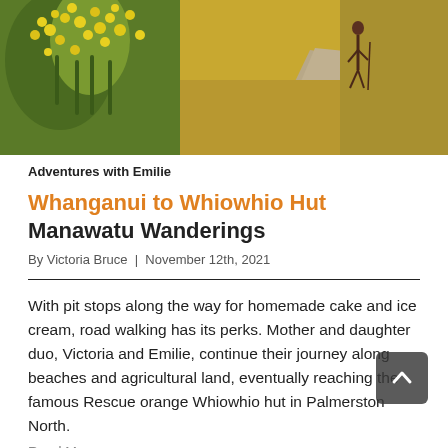[Figure (photo): Outdoor trail photo showing yellow flowering plants on the left and a gravel path with a hiker in the distance on the right, set in a dry grassy landscape.]
Adventures with Emilie
Whanganui to Whiowhio Hut  Manawatu Wanderings
By Victoria Bruce  |  November 12th, 2021
With pit stops along the way for homemade cake and ice cream, road walking has its perks. Mother and daughter duo, Victoria and Emilie, continue their journey along beaches and agricultural land, eventually reaching the famous Rescue orange Whiowhio hut in Palmerston North.
Read More »